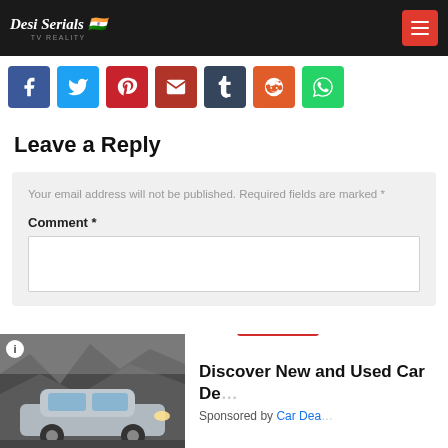Desi Serials
[Figure (infographic): Social share icons row: Facebook (blue), Twitter (light blue), Pinterest (red), Email (dark red), Tumblr (dark navy), Reddit (orange), WhatsApp (green)]
Leave a Reply
Your email address will not be published. Required fields are marked *
Comment *
[Figure (screenshot): Advertisement overlay: Car image on left, close button labeled X CLOSE, headline 'Discover New and Used Car De...' and 'Sponsored by Car Dea...']